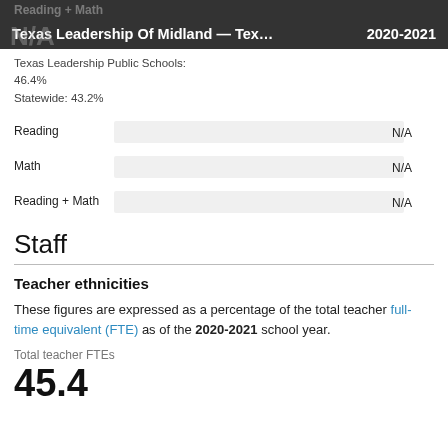Reading + Math
Texas Leadership Of Midland — Tex… 2020-2021
N/A
Texas Leadership Public Schools: 46.4%
Statewide: 43.2%
[Figure (bar-chart): Reading, Math, Reading + Math]
Staff
Teacher ethnicities
These figures are expressed as a percentage of the total teacher full-time equivalent (FTE) as of the 2020-2021 school year.
Total teacher FTEs
45.4